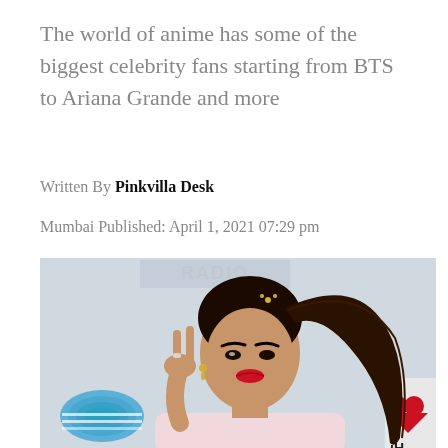The world of anime has some of the biggest celebrity fans starting from BTS to Ariana Grande and more
Written By Pinkvilla Desk
Mumbai Published: April 1, 2021 07:29 pm
[Figure (photo): Photo of Ariana Grande posing with a peace sign gesture, wearing a pink sweatshirt, with long dark hair in a high ponytail, red lipstick, against a backdrop with iHeartRadio and AT&T logos]